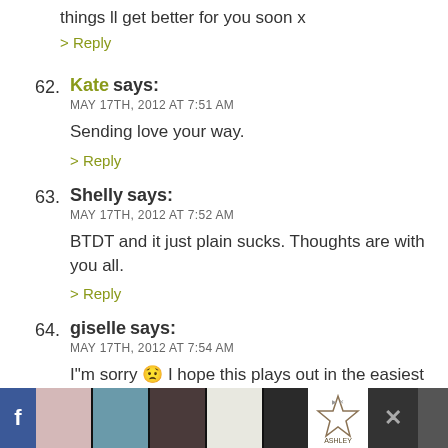things ll get better for you soon x
> Reply
62. Kate says: MAY 17TH, 2012 AT 7:51 AM
Sending love your way.
> Reply
63. Shelly says: MAY 17TH, 2012 AT 7:52 AM
BTDT and it just plain sucks. Thoughts are with you all.
> Reply
64. giselle says: MAY 17TH, 2012 AT 7:54 AM
I"m sorry :( I hope this plays out in the easiest way po... you can then have some time with your thoughts to pr...
> Reply
[Figure (screenshot): Advertisement bar at bottom showing Ashley furniture ad with product images and Facebook icon]